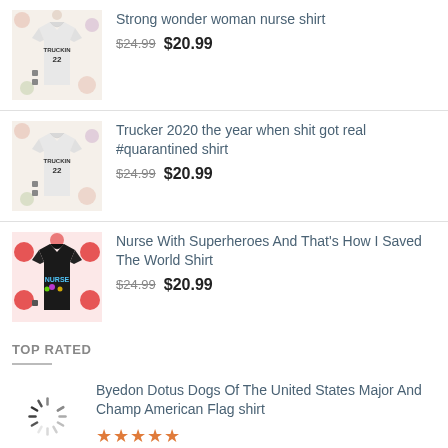[Figure (photo): Product image of a t-shirt with 'TRUCKIN 22' design on floral background]
Strong wonder woman nurse shirt
$24.99  $20.99
[Figure (photo): Product image of a t-shirt with 'TRUCKIN 22' design on floral background]
Trucker 2020 the year when shit got real #quarantined shirt
$24.99  $20.99
[Figure (photo): Product image of a black t-shirt with colorful design on red heart background]
Nurse With Superheroes And That's How I Saved The World Shirt
$24.99  $20.99
TOP RATED
[Figure (photo): Loading spinner icon indicating image is loading]
Byedon Dotus Dogs Of The United States Major And Champ American Flag shirt
★★★★★
$24.99  $20.99